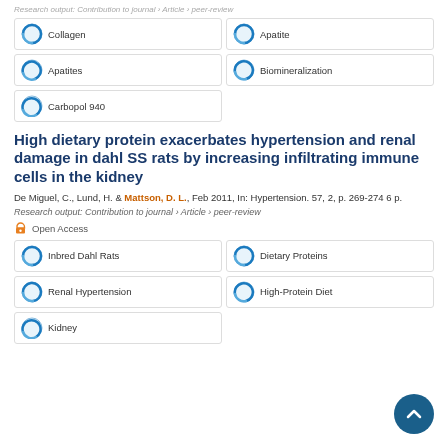Research output: Contribution to journal › Article › peer-review
Collagen
Apatite
Apatites
Biomineralization
Carbopol 940
High dietary protein exacerbates hypertension and renal damage in dahl SS rats by increasing infiltrating immune cells in the kidney
De Miguel, C., Lund, H. & Mattson, D. L., Feb 2011, In: Hypertension. 57, 2, p. 269-274 6 p.
Research output: Contribution to journal › Article › peer-review
Open Access
Inbred Dahl Rats
Dietary Proteins
Renal Hypertension
High-Protein Diet
Kidney